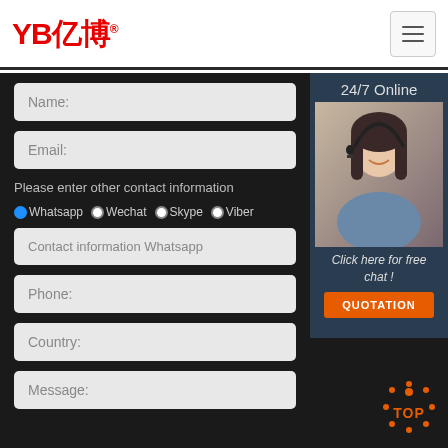[Figure (logo): YB亿博 logo in red with registered trademark symbol]
[Figure (other): Hamburger menu button icon]
Name:
Email:
Please enter other contact information
OWhatsapp  OWechat  OSkype  OViber
Contact information Whatsapp
[Figure (photo): Customer service agent woman with headset, 24/7 Online label, Click here for free chat! text]
QUOTATION
Phone:
Country:
[Figure (other): TOP button icon in orange]
Message: